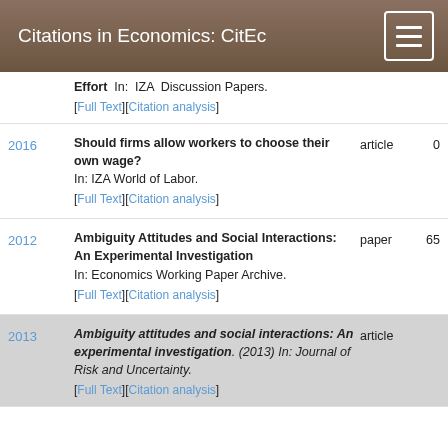Citations in Economics: CitEc
Effort In: IZA Discussion Papers. [Full Text][Citation analysis]
2016 | Should firms allow workers to choose their own wage? In: IZA World of Labor. [Full Text][Citation analysis] | article | 0
2012 | Ambiguity Attitudes and Social Interactions: An Experimental Investigation In: Economics Working Paper Archive. [Full Text][Citation analysis] | paper | 65
2013 | Ambiguity attitudes and social interactions: An experimental investigation. (2013) In: Journal of Risk and Uncertainty. [Full Text][Citation analysis] | article